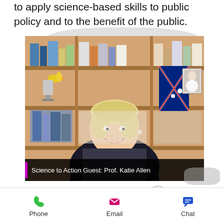to apply science-based skills to public policy and to the benefit of the public.
[Figure (photo): Photo of Prof. Katie Allen seated in front of a bookshelf with an Australian flag, smiling, wearing a black blazer and coral top. Overlaid caption reads 'Science to Action Guest: Prof. Katie Allen'.]
WATCH NOW
Phone  Email  Chat